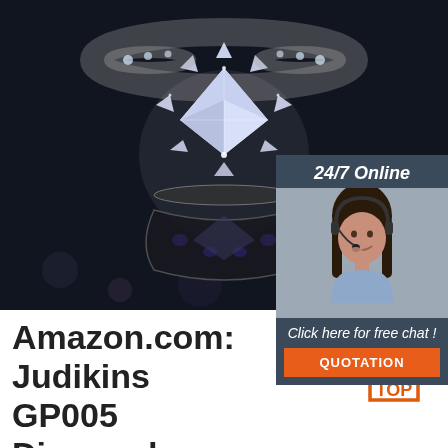[Figure (photo): Close-up photo of a diamond ring with a large central diamond and surrounding smaller diamonds on a dark background]
[Figure (infographic): Chat widget overlay showing '24/7 Online' header, photo of a woman with headset, 'Click here for free chat!' text, and orange QUOTATION button]
Amazon.com: Judikins GP005 Diamond Glaze, 2-Ounce
Choose items to buy together. This item: Judikins GP005 Diamond Glaze, 2-Ounce. $6.98 ($3.49/Fl
[Figure (logo): Orange TOP badge/logo in bottom right corner]